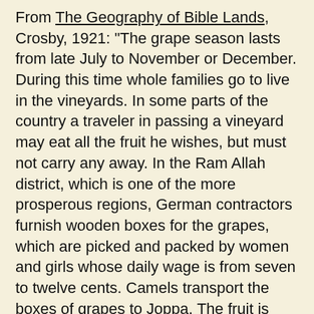From The Geography of Bible Lands, Crosby, 1921: "The grape season lasts from late July to November or December. During this time whole families go to live in the vineyards. In some parts of the country a traveler in passing a vineyard may eat all the fruit he wishes, but must not carry any away. In the Ram Allah district, which is one of the more prosperous regions, German contractors furnish wooden boxes for the grapes, which are picked and packed by women and girls whose daily wage is from seven to twelve cents. Camels transport the boxes of grapes to Joppa. The fruit is picked early to save the strength of the vines and to prevent waste. After the harvest the vines are pruned and the ground is plowed. It is cultivated again in winter. In some sections the sheep and goats are turned in to eat the leaves of the vines, much as flocks feed in our grain fields after harvest."
Varro (116 BC – 27 BC) in Rerum Rusticarum Libri Tres; wrote it was necessary for a farmer to fence his vineyard to keep goats out as they were known to